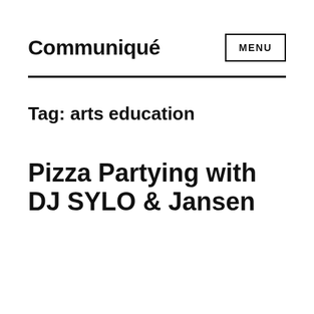Communiqué
MENU
Tag: arts education
Pizza Partying with DJ SYLO & Jansen